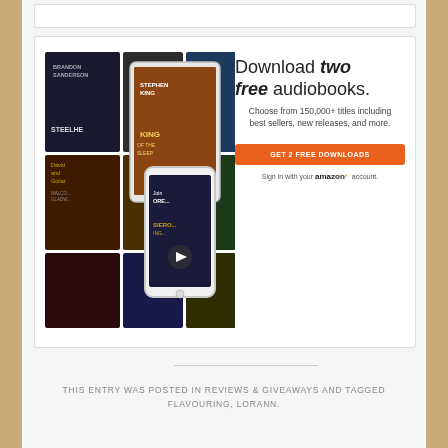[Figure (screenshot): Advertisement banner for Audible audiobooks showing mobile devices with book covers on left, text 'Download two free audiobooks.' on right with an orange CTA button 'GET 2 FREE DOWNLOADS' and 'Sign in with your amazon account.']
THIS ENTRY WAS POSTED IN REVIEWS & GIVEAWAYS AND TAGGED FLAVOURING, LORANN.